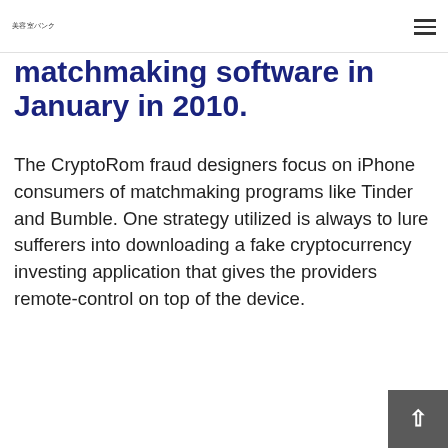美容室バンク
fraudulence occurring across matchmaking software in January in 2010.
The CryptoRom fraud designers focus on iPhone consumers of matchmaking programs like Tinder and Bumble. One strategy utilized is always to lure sufferers into downloading a fake cryptocurrency investing application that gives the providers remote-control on top of the device.